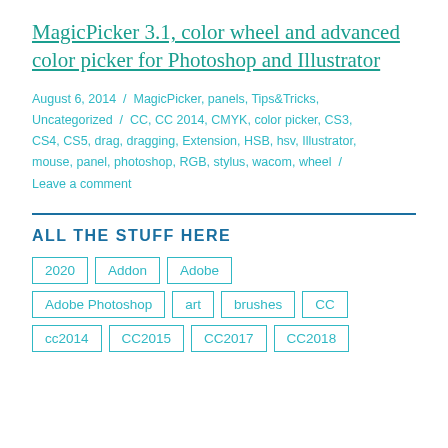MagicPicker 3.1, color wheel and advanced color picker for Photoshop and Illustrator
August 6, 2014 / MagicPicker, panels, Tips&Tricks, Uncategorized / CC, CC 2014, CMYK, color picker, CS3, CS4, CS5, drag, dragging, Extension, HSB, hsv, Illustrator, mouse, panel, photoshop, RGB, stylus, wacom, wheel / Leave a comment
ALL THE STUFF HERE
2020
Addon
Adobe
Adobe Photoshop
art
brushes
CC
cc2014
CC2015
CC2017
CC2018